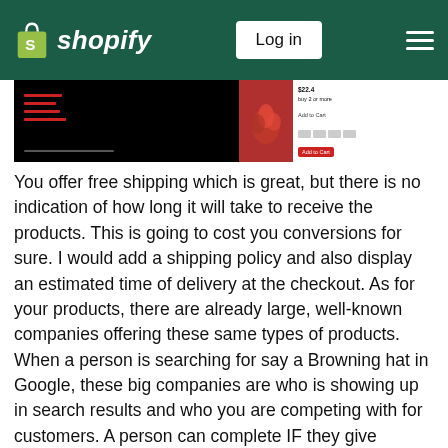Shopify — Log in
[Figure (screenshot): A screenshot of an e-commerce website with a dark background, showing red navigation links on the left and a product image with white panel on the right, including payment icons.]
You offer free shipping which is great, but there is no indication of how long it will take to receive the products. This is going to cost you conversions for sure. I would add a shipping policy and also display an estimated time of delivery at the checkout. As for your products, there are already large, well-known companies offering these same types of products. When a person is searching for say a Browning hat in Google, these big companies are who is showing up in search results and who you are competing with for customers. A person can complete IF they give people a reason to purchase